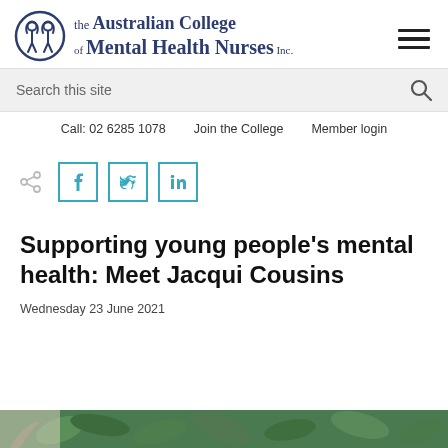[Figure (logo): The Australian College of Mental Health Nurses Inc. logo with circular emblem showing two figures]
Search this site
Call: 02 6285 1078   Join the College   Member login
[Figure (infographic): Social share icons: share symbol, Facebook, Twitter, LinkedIn buttons with teal borders]
Supporting young people's mental health: Meet Jacqui Cousins
Wednesday 23 June 2021
[Figure (photo): Partial image of a person outdoors with green foliage visible at bottom of page]